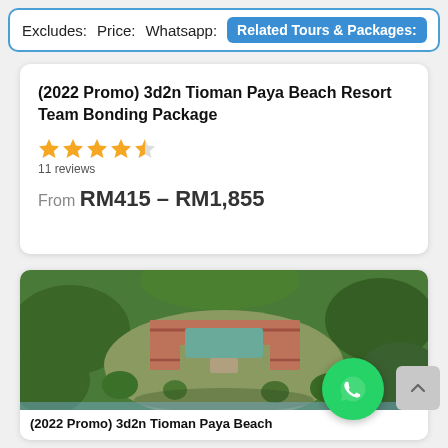Excludes:  Price:  Whatsapp:  Related Tours & Packages:
(2022 Promo) 3d2n Tioman Paya Beach Resort Team Bonding Package
11 reviews
From RM415 - RM1,855
[Figure (photo): Aerial view of Tioman Paya Beach Resort surrounded by tropical forest]
(2022 Promo) 3d2n Tioman Paya Beach